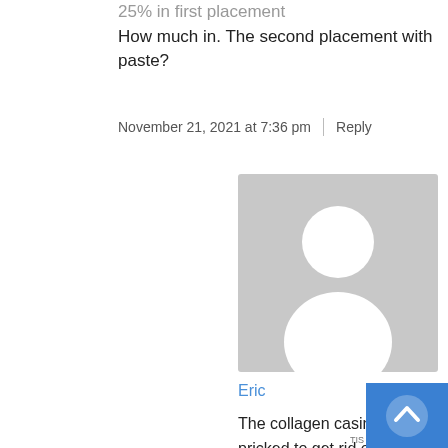25% in first placement How much in. The second placement with paste?
November 21, 2021 at 7:36 pm
Reply
[Figure (illustration): Generic user avatar placeholder image - gray background with white silhouette of person]
Eric
The collagen casing can be pricked to get rid of any air pockets. If you don't have any air pockets you can prick or not.. Up to you. I've edited the instructions to reflect specific drying time. The issue comes down to meat size. Depending on the cut that you use will